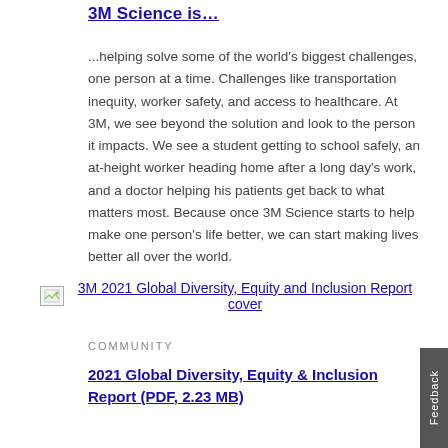3M Science is…
...helping solve some of the world's biggest challenges, one person at a time. Challenges like transportation inequity, worker safety, and access to healthcare. At 3M, we see beyond the solution and look to the person it impacts. We see a student getting to school safely, an at-height worker heading home after a long day's work, and a doctor helping his patients get back to what matters most. Because once 3M Science starts to help make one person's life better, we can start making lives better all over the world.
[Figure (illustration): Broken image placeholder with link text: 3M 2021 Global Diversity, Equity and Inclusion Report cover]
3M 2021 Global Diversity, Equity and Inclusion Report cover
COMMUNITY
2021 Global Diversity, Equity & Inclusion Report (PDF, 2.23 MB)